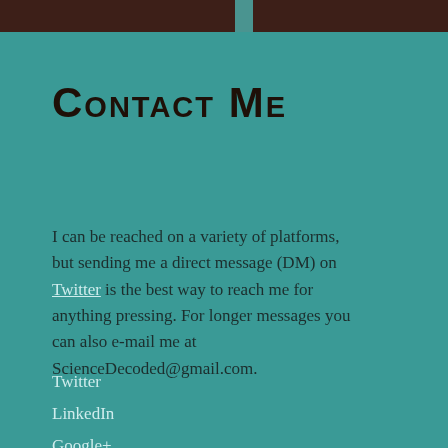Contact Me
I can be reached on a variety of platforms, but sending me a direct message (DM) on Twitter is the best way to reach me for anything pressing. For longer messages you can also e-mail me at ScienceDecoded@gmail.com.
Twitter
LinkedIn
Google+